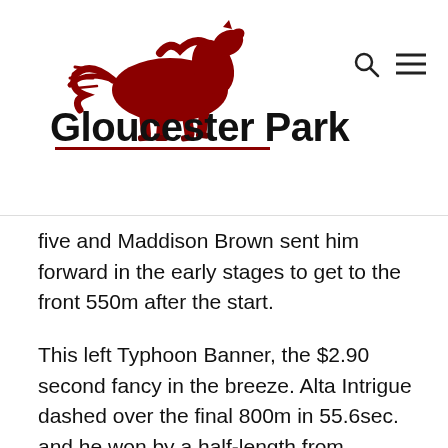Gloucester Park
five and Maddison Brown sent him forward in the early stages to get to the front 550m after the start.
This left Typhoon Banner, the $2.90 second fancy in the breeze. Alta Intrigue dashed over the final 800m in 55.6sec. and he won by a half-length from stablemate Nota Bene Denario ($10) who finished strongly after trailing the pacemaker.
“He is going really good now,” said Hall. “He